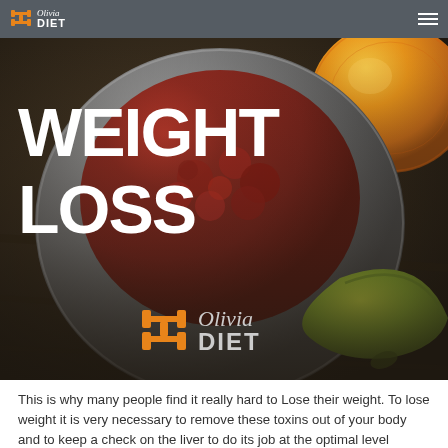Olivia Diet
[Figure (photo): Hero image showing a bowl of dried cranberries/red fruits with citrus fruit and a banana on a wooden surface, overlaid with bold white text 'WEIGHT LOSS' and the Olivia Diet logo]
WEIGHT LOSS
This is why many people find it really hard to Lose their weight. To lose weight it is very necessary to remove these toxins out of your body and to keep a check on the liver to do its job at the optimal level possible.